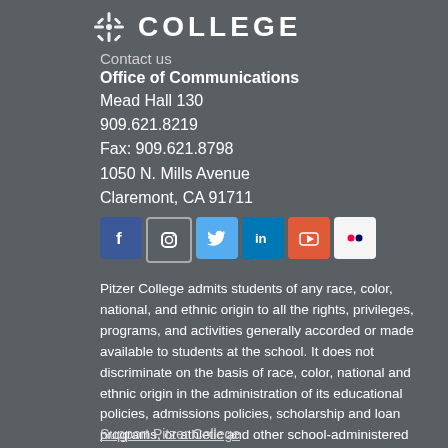[Figure (logo): Pitzer College logo with decorative floral icon and COLLEGE text]
Contact us
Office of Communications
Mead Hall 130
909.621.8219
Fax: 909.621.8798
1050 N. Mills Avenue
Claremont, CA 91711
[Figure (infographic): Social media icon buttons: Facebook, Instagram, Twitter, LinkedIn, YouTube, Flickr]
Pitzer College admits students of any race, color, national, and ethnic origin to all the rights, privileges, programs, and activities generally accorded or made available to students at the school. It does not discriminate on the basis of race, color, national and ethnic origin in the administration of its educational policies, admissions policies, scholarship and loan programs, or athletic and other school-administered programs.
Support Pitzer College